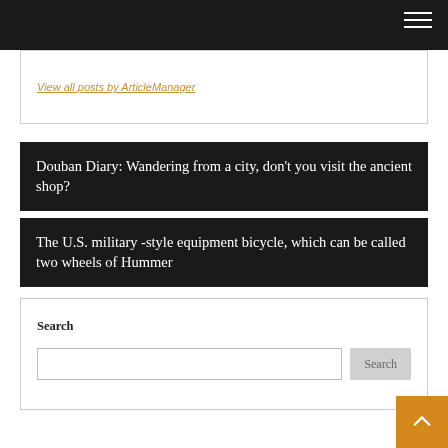View all posts by ArticleManager
Douban Diary: Wandering from a city, don't you visit the ancient shop?
The U.S. military -style equipment bicycle, which can be called two wheels of Hummer
Search